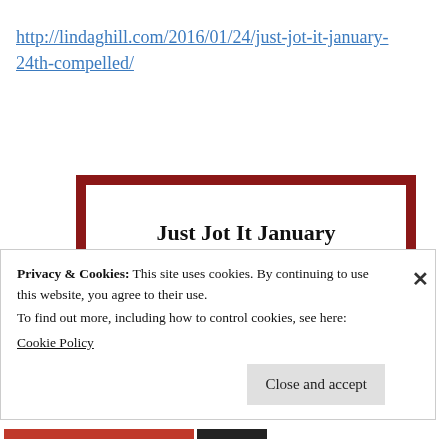http://lindaghill.com/2016/01/24/just-jot-it-january-24th-compelled/
[Figure (illustration): A framed image with dark red border containing the text 'Just Jot It January' and a stick figure illustration of a person with a book or paper]
Privacy & Cookies: This site uses cookies. By continuing to use this website, you agree to their use.
To find out more, including how to control cookies, see here:
Cookie Policy

Close and accept